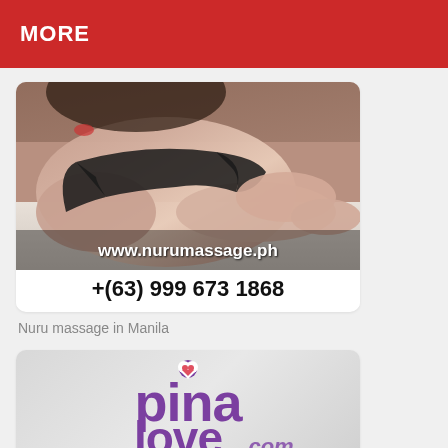MORE
[Figure (photo): Advertisement image showing a person in a black top reclining, with overlaid text 'www.nurumassage.ph' and phone number '+(63) 999 673 1868']
Nuru massage in Manila
[Figure (logo): PinaLove.com logo in purple script with a heart icon, on a light grey background]